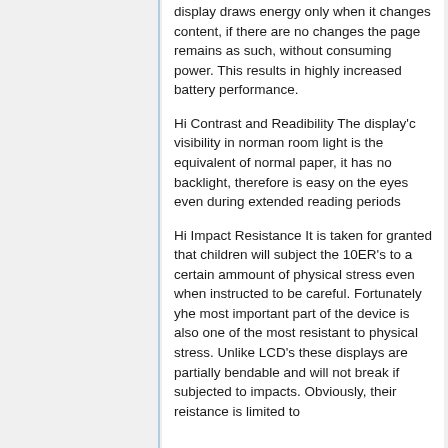display draws energy only when it changes content, if there are no changes the page remains as such, without consuming power. This results in highly increased battery performance.
Hi Contrast and Readibility The display'c visibility in norman room light is the equivalent of normal paper, it has no backlight, therefore is easy on the eyes even during extended reading periods
Hi Impact Resistance It is taken for granted that children will subject the 10ER's to a certain ammount of physical stress even when instructed to be careful. Fortunately yhe most important part of the device is also one of the most resistant to physical stress. Unlike LCD's these displays are partially bendable and will not break if subjected to impacts. Obviously, their reistance is limited to